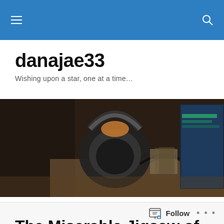danajae33 – navigation bar
danajae33
Wishing upon a star, one at a time…
[Figure (photo): Close-up photo of headphones on a desk with a monitor in the background showing a website]
TAGGED WITH TRUMP
The Miserable Jigsaw of the Chump Administration
Follow